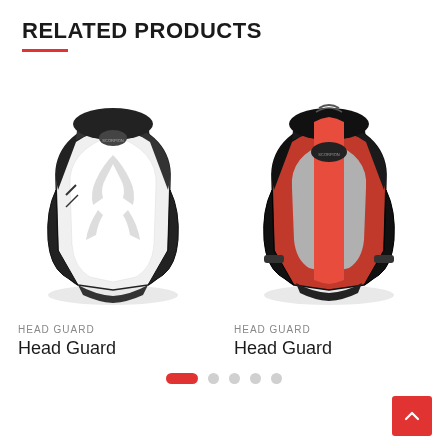RELATED PRODUCTS
[Figure (photo): Black and white boxing head guard with Scorpion logo and eagle graphic design]
HEAD GUARD
Head Guard
[Figure (photo): Black and red boxing head guard with Scorpion logo]
HEAD GUARD
Head Guard